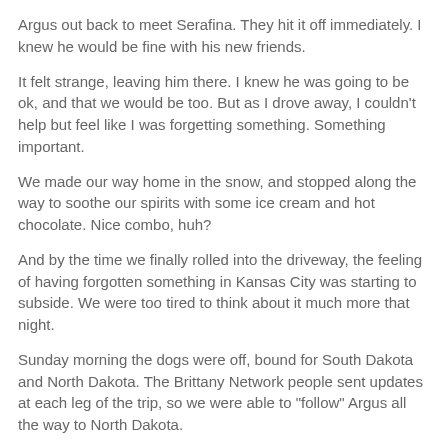Argus out back to meet Serafina. They hit it off immediately. I knew he would be fine with his new friends.
It felt strange, leaving him there. I knew he was going to be ok, and that we would be too. But as I drove away, I couldn't help but feel like I was forgetting something. Something important.
We made our way home in the snow, and stopped along the way to soothe our spirits with some ice cream and hot chocolate. Nice combo, huh?
And by the time we finally rolled into the driveway, the feeling of having forgotten something in Kansas City was starting to subside. We were too tired to think about it much more that night.
Sunday morning the dogs were off, bound for South Dakota and North Dakota. The Brittany Network people sent updates at each leg of the trip, so we were able to "follow" Argus all the way to North Dakota.